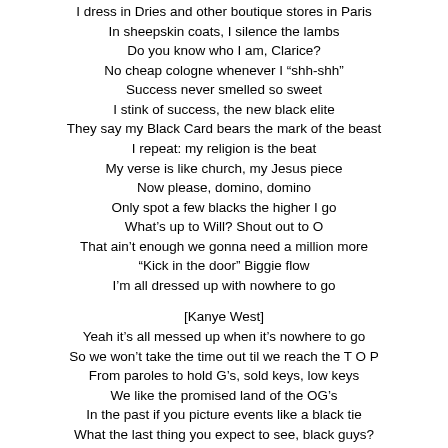I dress in Dries and other boutique stores in Paris
In sheepskin coats, I silence the lambs
Do you know who I am, Clarice?
No cheap cologne whenever I “shh-shh”
Success never smelled so sweet
I stink of success, the new black elite
They say my Black Card bears the mark of the beast
I repeat: my religion is the beat
My verse is like church, my Jesus piece
Now please, domino, domino
Only spot a few blacks the higher I go
What’s up to Will? Shout out to O
That ain’t enough we gonna need a million more
"Kick in the door" Biggie flow
I’m all dressed up with nowhere to go
[Kanye West]
Yeah it’s all messed up when it’s nowhere to go
So we won’t take the time out til we reach the T O P
From paroles to hold G’s, sold keys, low keys
We like the promised land of the OG’s
In the past if you picture events like a black tie
What the last thing you expect to see, black guys?
What’s the life expectancy for black guys?
The system’s working effectively, that’s why!
I’ll be a real man and take care of your son
Every problem you had before this day is now done
New crib, watch a movie cause ain’t nothin on the news
But the blues.. hit the mall, pick up some Gucci
Now ain’t nothing new but your shoes
Sunday morning, praise the Lord
You’re the girl that Jesus had been saving me for